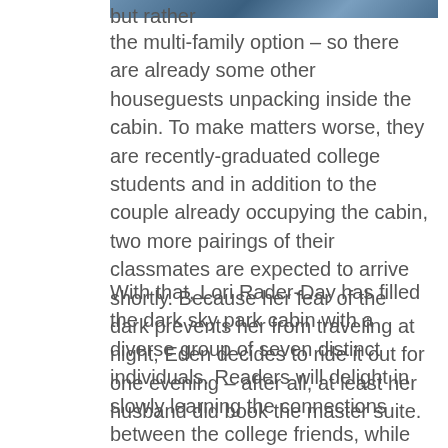[Figure (photo): Partial image of a dark sky/nature scene at the top of the page]
but rather the multi-family option – so there are already some other houseguests unpacking inside the cabin. To make matters worse, they are recently-graduated college students and in addition to the couple already occupying the cabin, two more pairings of their classmates are expected to arrive shortly. Because her fear of the dark prevents her from traveling at night, Eden decides to ride it out for one evening – after all, at least her husband did book the master suite.
With that, Lori Rader-Day has filled the dark sky park cabin with a diverse group of seven distinct individuals. Readers will delight in slowly learning the connections between the college friends, while ever so gently suspicions begin to arise. Like why do they keep talking about the one friend who is not there? And why does it seem that Hillary is as much